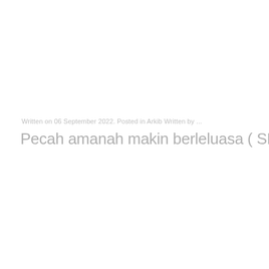Written on 06 September 2022. Posted in Arkib Written by ...
Pecah amanah makin berleluasa ( SH 13/12/...